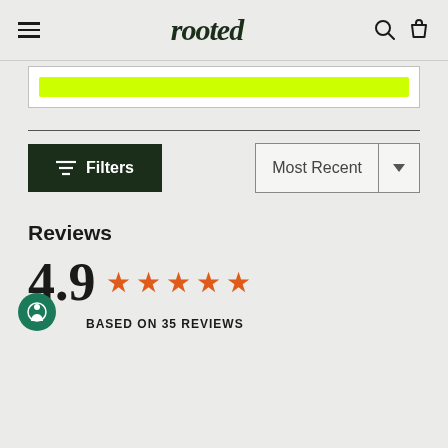rooted
[Figure (other): Yellow/lime green bar inside a bordered white box, partially visible at top of page]
[Figure (other): Filters button (dark green with filter icon) and Most Recent dropdown sort selector]
Reviews
4.9 ★★★★★
BASED ON 35 REVIEWS